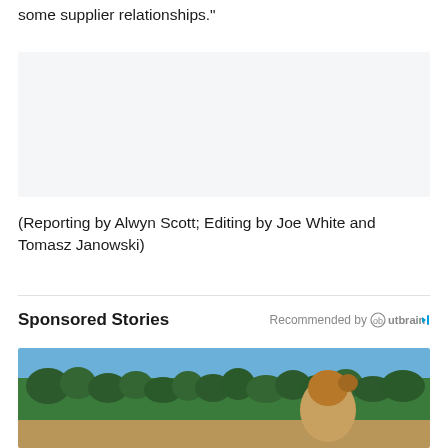some supplier relationships."
[Figure (other): Advertisement placeholder box with light gray background]
(Reporting by Alwyn Scott; Editing by Joe White and Tomasz Janowski)
Sponsored Stories
Recommended by Outbrain
[Figure (photo): Outdoor photo showing a woman with blonde hair in a bun, trees and a lake in the background, blue sky]